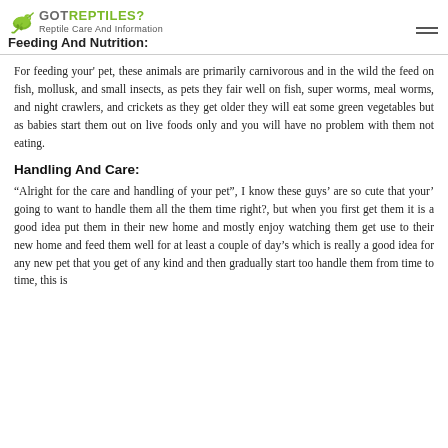GOT REPTILES? Reptile Care And Information
Feeding And Nutrition:
For feeding your' pet, these animals are primarily carnivorous and in the wild the feed on fish, mollusk, and small insects, as pets they fair well on fish, super worms, meal worms, and night crawlers, and crickets as they get older they will eat some green vegetables but as babies start them out on live foods only and you will have no problem with them not eating.
Handling And Care:
“Alright for the care and handling of your pet”, I know these guys’ are so cute that your’ going to want to handle them all the them time right?, but when you first get them it is a good idea put them in their new home and mostly enjoy watching them get use to their new home and feed them well for at least a couple of day’s which is really a good idea for any new pet that you get of any kind and then gradually start too handle them from time to time, this is